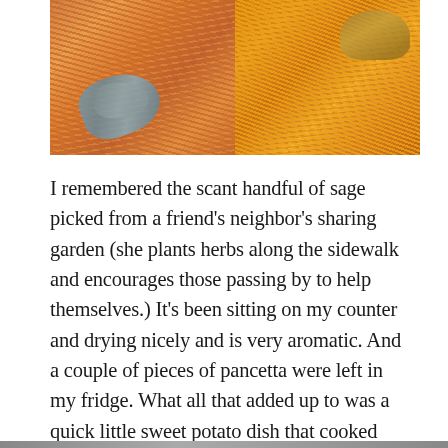[Figure (photo): Two side-by-side food photos: left shows shredded orange sweet potato with blue-grey sage leaves on a surface; right shows golden shredded sweet potato being cooked in a pan with a wooden utensil.]
I remembered the scant handful of sage picked from a friend’s neighbor’s sharing garden (she plants herbs along the sidewalk and encourages those passing by to help themselves.) It’s been sitting on my counter and drying nicely and is very aromatic. And a couple of pieces of pancetta were left in my fridge. What all that added up to was a quick little sweet potato dish that cooked nicely while my chicken was grilling.